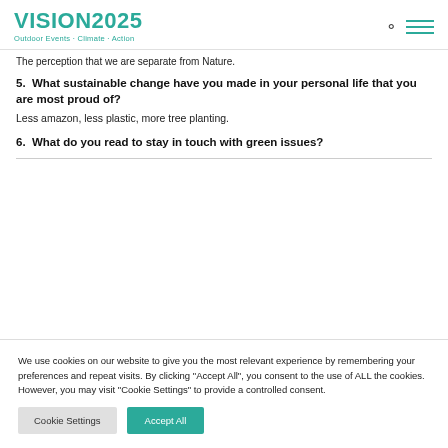VISION2025 Outdoor Events · Climate · Action
The perception that we are separate from Nature.
5.  What sustainable change have you made in your personal life that you are most proud of?
Less amazon, less plastic, more tree planting.
6.  What do you read to stay in touch with green issues?
We use cookies on our website to give you the most relevant experience by remembering your preferences and repeat visits. By clicking "Accept All", you consent to the use of ALL the cookies. However, you may visit "Cookie Settings" to provide a controlled consent.